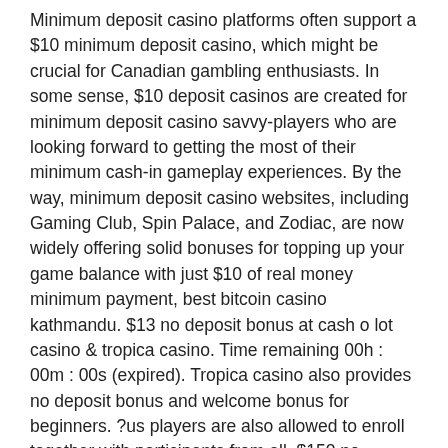Minimum deposit casino platforms often support a $10 minimum deposit casino, which might be crucial for Canadian gambling enthusiasts. In some sense, $10 deposit casinos are created for minimum deposit casino savvy-players who are looking forward to getting the most of their minimum cash-in gameplay experiences. By the way, minimum deposit casino websites, including Gaming Club, Spin Palace, and Zodiac, are now widely offering solid bonuses for topping up your game balance with just $10 of real money minimum payment, best bitcoin casino kathmandu. $13 no deposit bonus at cash o lot casino &amp; tropica casino. Time remaining 00h : 00m : 00s (expired). Tropica casino also provides no deposit bonus and welcome bonus for beginners. ?us players are also allowed to enroll together with participants from all. $150 no deposit bonuses from 5 rival casinos deposit $25 and release your